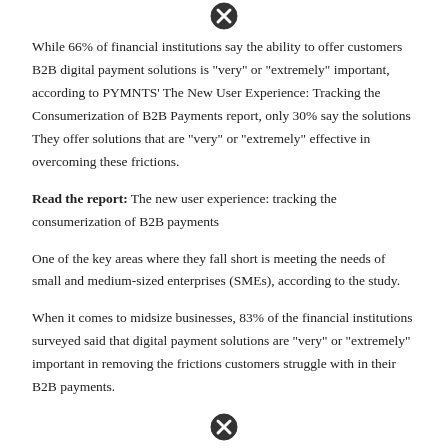[Figure (other): Circle X icon/close button]
While 66% of financial institutions say the ability to offer customers B2B digital payment solutions is 'very' or 'extremely' important, according to PYMNTS' The New User Experience: Tracking the Consumerization of B2B Payments report, only 30% say the solutions They offer solutions that are 'very' or 'extremely' effective in overcoming these frictions.
Read the report: The new user experience: tracking the consumerization of B2B payments
One of the key areas where they fall short is meeting the needs of small and medium-sized enterprises (SMEs), according to the study.
When it comes to midsize businesses, 83% of the financial institutions surveyed said that digital payment solutions are 'very' or 'extremely' important in removing the frictions customers struggle with in their B2B payments.
[Figure (other): Circle X icon/close button]